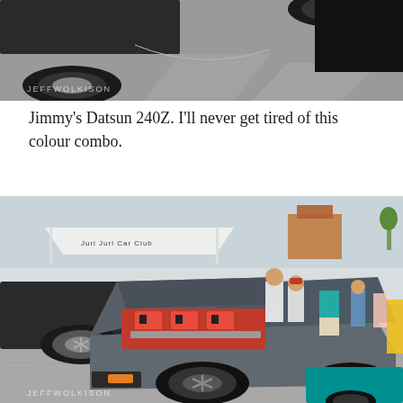[Figure (photo): Top portion of a car show photo showing car tires and pavement with a watermark reading 'JEFFWOLKISON']
Jimmy's Datsun 240Z. I'll never get tired of this colour combo.
[Figure (photo): A gray Nissan Skyline R32 GT-R with hood open showing red engine, at a car show with multiple other cars and people in background. A teal car is visible at bottom right. Watermark reads 'JEFFWOLKISON'.]